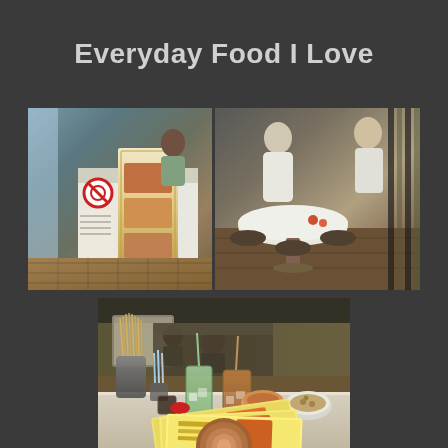Everyday Food I Love
[Figure (photo): Top strip of two food stall / restaurant interior photos side by side. Left shows a food stall counter with a no-smoking sign and a printed menu banner. Right shows a restaurant dining area with a round white table and chairs and vertical bar dividers.]
[Figure (photo): Large photo of a restaurant interior showing chopsticks in a metal holder on a table, drinks with straws (iced tea and green drink), small condiment bowls, and stacked menus in the foreground. In the background, diners are seated and a worker is at the counter.]